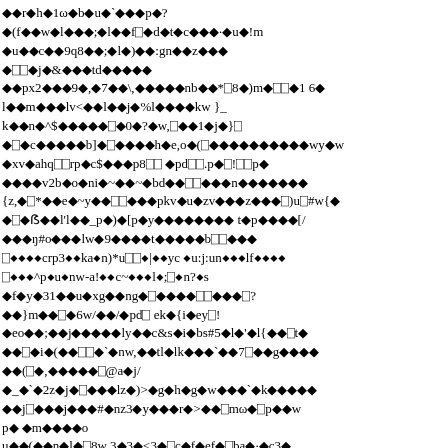Corrupted/encoded text block with diamond replacement characters mixed with ASCII characters across multiple lines